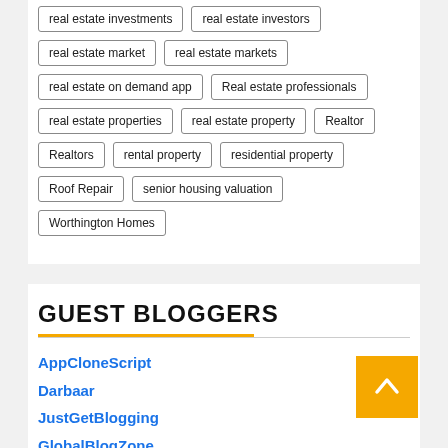real estate investments
real estate investors
real estate market
real estate markets
real estate on demand app
Real estate professionals
real estate properties
real estate property
Realtor
Realtors
rental property
residential property
Roof Repair
senior housing valuation
Worthington Homes
GUEST BLOGGERS
AppCloneScript
Darbaar
JustGetBlogging
GlobalBlogZone
HealthCareBloggers